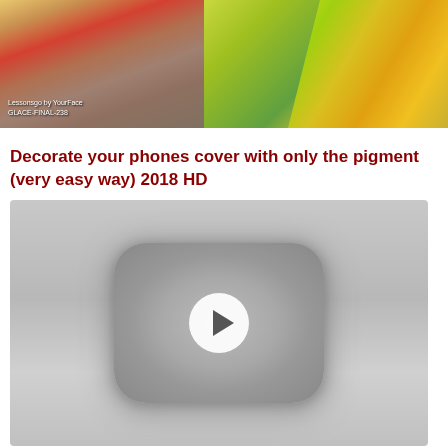[Figure (photo): Two photos side by side: left shows a person with blonde hair wearing red, appearing to use a phone; right shows colorful holographic/iridescent phone case accessories on a phone.]
Decorate your phones cover with only the pigment (very easy way) 2018 HD
[Figure (screenshot): Embedded video thumbnail showing a YouTube-style play button (gray rounded rectangle with white circle play icon) on a light gray background.]